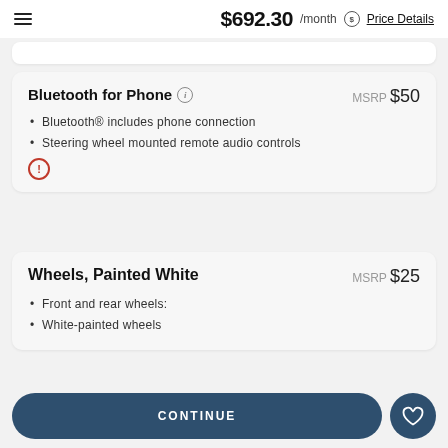$692.30 /month Price Details
Bluetooth for Phone
MSRP $50
Bluetooth® includes phone connection
Steering wheel mounted remote audio controls
Wheels, Painted White
MSRP $25
Front and rear wheels:
White-painted wheels
CONTINUE